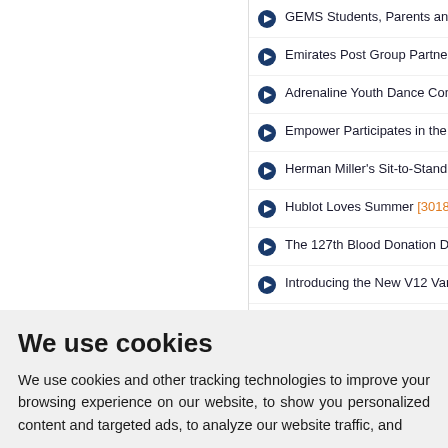GEMS Students, Parents and Tea...
Emirates Post Group Partners with...
Adrenaline Youth Dance Company...
Empower Participates in the 'WET...
Herman Miller's Sit-to-Stand Deski...
Hublot Loves Summer [3018-Views...]
The 127th Blood Donation Drive of...
Introducing the New V12 Vantage...
TCL Elevates the Video Gaming E...
We use cookies
We use cookies and other tracking technologies to improve your browsing experience on our website, to show you personalized content and targeted ads, to analyze our website traffic, and